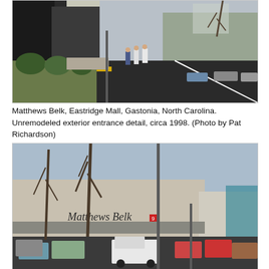[Figure (photo): Exterior entrance detail of Matthews Belk at Eastridge Mall, Gastonia, North Carolina, circa 1998. Shows building entrance with landscaping, bushes, people walking across a parking lot crosswalk, and a road with parked cars visible in the background.]
Matthews Belk, Eastridge Mall, Gastonia, North Carolina. Unremodeled exterior entrance detail, circa 1998. (Photo by Pat Richardson)
[Figure (photo): Exterior view of Matthews Belk department store at Eastridge Mall. Shows the large beige/grey building facade with Matthews Belk signage, a parking lot with multiple cars and a white pickup truck in the foreground, and bare winter trees.]